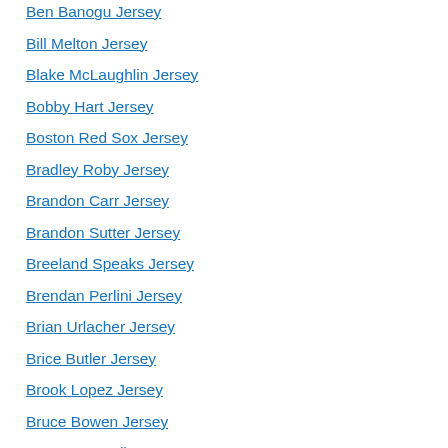Ben Banogu Jersey
Bill Melton Jersey
Blake McLaughlin Jersey
Bobby Hart Jersey
Boston Red Sox Jersey
Bradley Roby Jersey
Brandon Carr Jersey
Brandon Sutter Jersey
Breeland Speaks Jersey
Brendan Perlini Jersey
Brian Urlacher Jersey
Brice Butler Jersey
Brook Lopez Jersey
Bruce Bowen Jersey
Bruce Maxwell Jersey
Bryan Anger Jersey
C.J. Mosley Jersey
Cam Newton Jersey
Cam Talbot Jersey